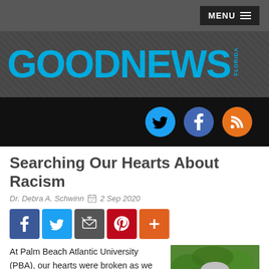MENU
[Figure (logo): GOODNEWS FLORIDA logo in cyan/blue on dark textured background]
[Figure (infographic): Social media icons bar: Twitter (cyan), Facebook (blue), RSS (orange) on black background]
Searching Our Hearts About Racism
Dr. Debra A. Schwinn  📅 2 Sep 2020
[Figure (infographic): Social share buttons: Facebook (blue), Twitter (light blue), Email (gray), Pinterest (red), Plus (orange)]
At Palm Beach Atlantic University (PBA), our hearts were broken as we learned of the senseless killing of George Floyd, Ahmaud Arbery and
[Figure (photo): Portrait photo of Dr. Debra A. Schwinn, a woman with short gray hair and glasses, smiling, outdoors with green background]